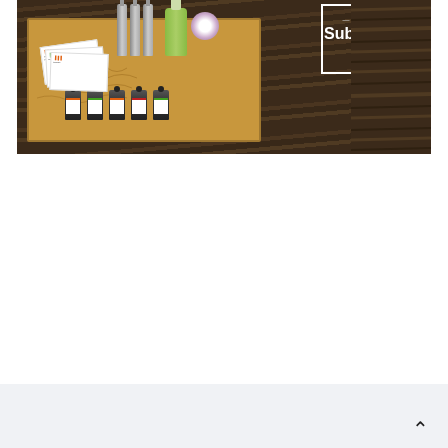[Figure (photo): A subscription box product photo showing a cardboard box filled with small dark glass essential oil bottles with colorful labels, spray bottles, cards/labels, a green bottle, and a floral item arranged on a dark wood background. A white-bordered overlay in the top right reads 'Get yours Subscription Box' in white bold text.]